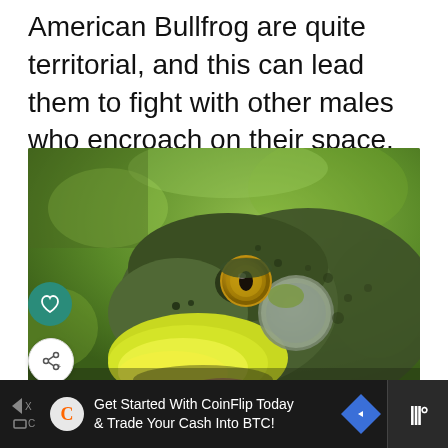American Bullfrog are quite territorial, and this can lead them to fight with other males who encroach on their space.
[Figure (photo): Close-up photograph of an American Bullfrog being held in someone's hand. The frog faces left, showing its large golden eye with black pupil, greenish-yellow coloring on the throat and chin, and textured dark green/brown skin. The background is a blurred green outdoor setting.]
Get Started With CoinFlip Today & Trade Your Cash Into BTC!